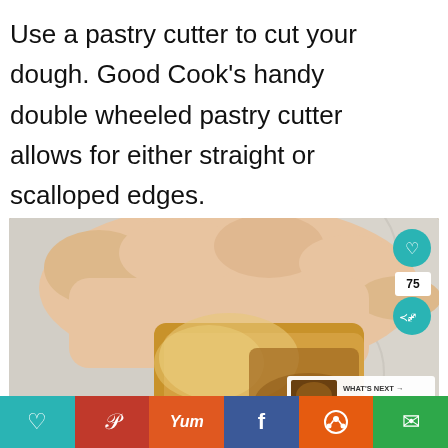Use a pastry cutter to cut your dough. Good Cook’s handy double wheeled pastry cutter allows for either straight or scalloped edges.
[Figure (photo): A hand holding a square piece of shortbread dough on a textured baking mat, with oval shapes printed on the mat. Overlay buttons visible: teal heart/like button, share count showing 75, teal share button. A 'What's Next' thumbnail card in bottom-right showing 'Almond Shortbread...']
♥  P  Yum  f  reddit  ✉